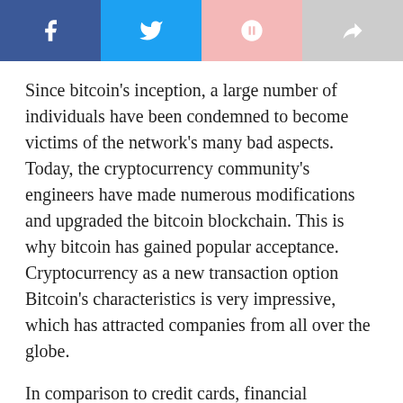[Figure (other): Social media share buttons: Facebook (dark blue), Twitter (light blue), Google+ (light pink), Share (gray)]
Since bitcoin's inception, a large number of individuals have been condemned to become victims of the network's many bad aspects. Today, the cryptocurrency community's engineers have made numerous modifications and upgraded the bitcoin blockchain. This is why bitcoin has gained popular acceptance. Cryptocurrency as a new transaction option Bitcoin's characteristics is very impressive, which has attracted companies from all over the globe.
In comparison to credit cards, financial transactions are inexpensive and quick. Second, bitcoin is very simple to use and widely available. To begin taking bitcoin payments, you must follow a process and publicly declare your acceptance of online transactions. This